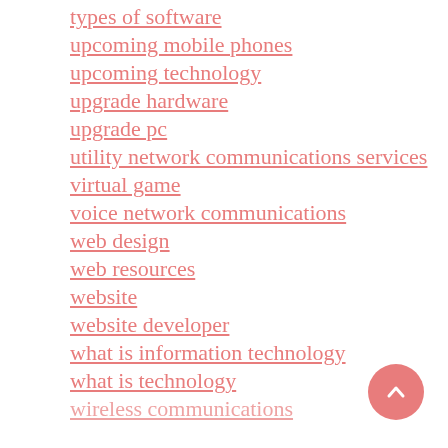types of software
upcoming mobile phones
upcoming technology
upgrade hardware
upgrade pc
utility network communications services
virtual game
voice network communications
web design
web resources
website
website developer
what is information technology
what is technology
wireless communications